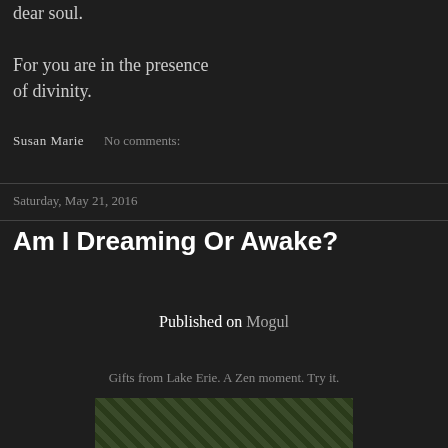dear soul.

For you are in the presence of divinity.
Susan Marie    No comments:
Saturday, May 21, 2016
Am I Dreaming Or Awake?
Published on Mogul
Gifts from Lake Erie. A Zen moment. Try it.
[Figure (photo): Partial photo of nature/plant scene visible at bottom of page]